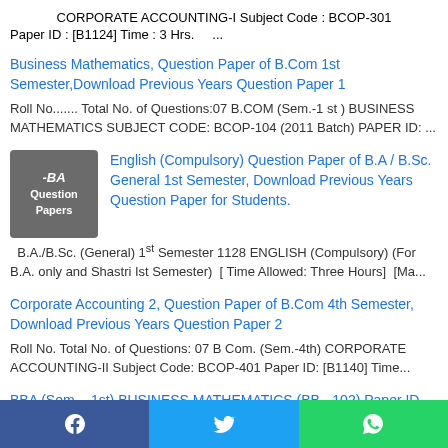CORPORATE ACCOUNTING-I Subject Code : BCOP-301
Paper ID : [B1124] Time : 3 Hrs.    ...
Business Mathematics, Question Paper of B.Com 1st Semester,Download Previous Years Question Paper 1
Roll No....... Total No. of Questions:07 B.COM (Sem.-1 st ) BUSINESS MATHEMATICS SUBJECT CODE: BCOP-104 (2011 Batch) PAPER ID: ...
[Figure (illustration): Dark gray box with white text reading '-BA Question Papers' in italic/bold style]
English (Compulsory) Question Paper of B.A / B.Sc. General 1st Semester, Download Previous Years Question Paper for Students.
B.A./B.Sc. (General) 1st Semester 1128 ENGLISH (Compulsory) (For B.A. only and Shastri Ist Semester)  [ Time Allowed: Three Hours]  [Ma...
Corporate Accounting 2, Question Paper of B.Com 4th Semester, Download Previous Years Question Paper 2
Roll No. Total No. of Questions: 07 B Com. (Sem.-4th) CORPORATE ACCOUNTING-II Subject Code: BCOP-401 Paper ID: [B1140] Time...
BBA (Sem. - 1st) BUSINESS MATHEMATICS (BB - 102) Paper ID [BB102]